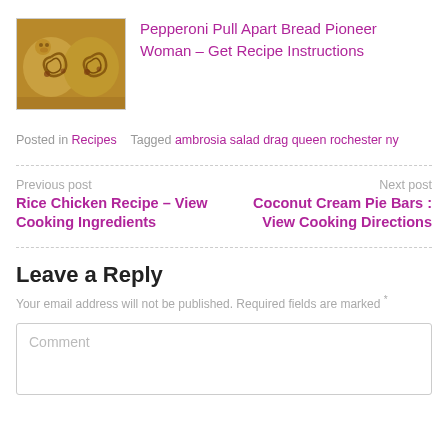[Figure (photo): Thumbnail photo of pepperoni pull apart bread rolls]
Pepperoni Pull Apart Bread Pioneer Woman – Get Recipe Instructions
Posted in Recipes   Tagged ambrosia salad drag queen rochester ny
Previous post
Rice Chicken Recipe – View Cooking Ingredients
Next post
Coconut Cream Pie Bars : View Cooking Directions
Leave a Reply
Your email address will not be published. Required fields are marked *
Comment